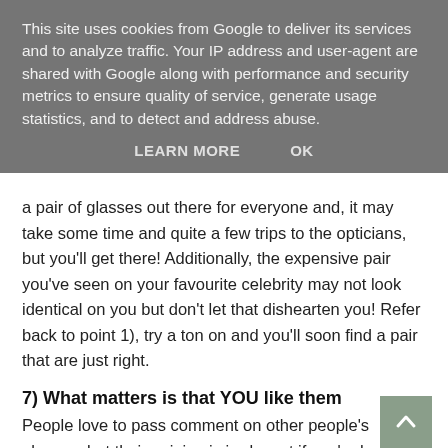This site uses cookies from Google to deliver its services and to analyze traffic. Your IP address and user-agent are shared with Google along with performance and security metrics to ensure quality of service, generate usage statistics, and to detect and address abuse.
LEARN MORE   OK
a pair of glasses out there for everyone and, it may take some time and quite a few trips to the opticians, but you'll get there! Additionally, the expensive pair you've seen on your favourite celebrity may not look identical on you but don't let that dishearten you! Refer back to point 1), try a ton on and you'll soon find a pair that are just right.
7) What matters is that YOU like them
People love to pass comment on other people's glasses, but their opinion is irrelevant if you're happy with the pair you've chosen. It's okay for other people not to like them